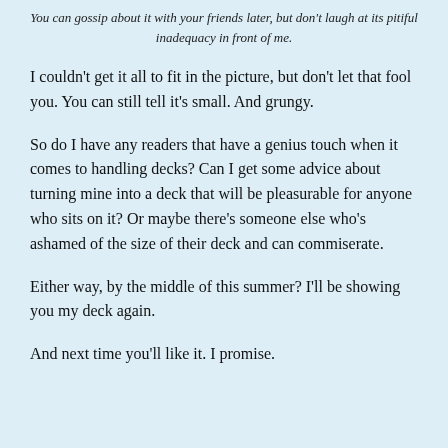You can gossip about it with your friends later, but don't laugh at its pitiful inadequacy in front of me.
I couldn't get it all to fit in the picture, but don't let that fool you. You can still tell it's small. And grungy.
So do I have any readers that have a genius touch when it comes to handling decks? Can I get some advice about turning mine into a deck that will be pleasurable for anyone who sits on it? Or maybe there's someone else who's ashamed of the size of their deck and can commiserate.
Either way, by the middle of this summer? I'll be showing you my deck again.
And next time you'll like it. I promise.